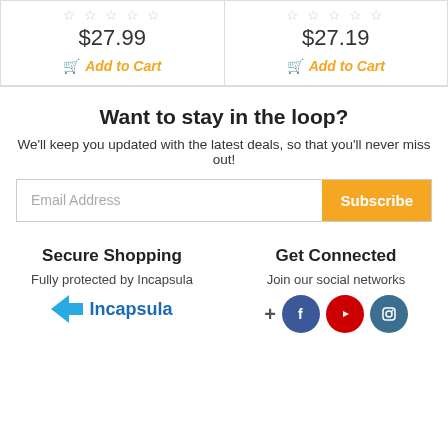$27.99
Add to Cart
$27.19
Add to Cart
Want to stay in the loop?
We'll keep you updated with the latest deals, so that you'll never miss out!
Email Address / Subscribe
Secure Shopping
Fully protected by Incapsula
[Figure (logo): Incapsula logo with blue arrow and text]
Get Connected
Join our social networks
[Figure (infographic): Social media icons: Facebook, YouTube, Instagram with a plus sign]